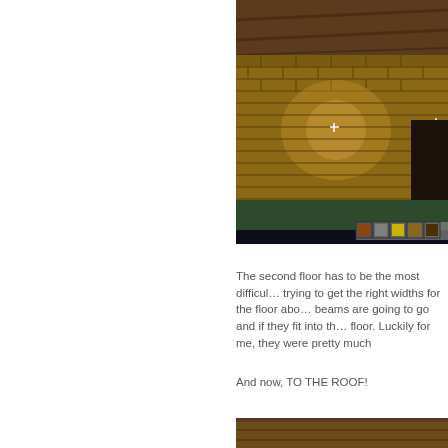[Figure (screenshot): Minecraft game screenshot showing a brick wall interior at night, with a starry sky visible, dark green floor, and a hotbar with items visible at the bottom right.]
The second floor has to be the most difficult, trying to get the right widths for the floor above, beams are going to go and if they fit into the floor. Luckily for me, they were pretty much
And now, TO THE ROOF!
[Figure (screenshot): Partial Minecraft screenshot visible at the bottom of the page.]